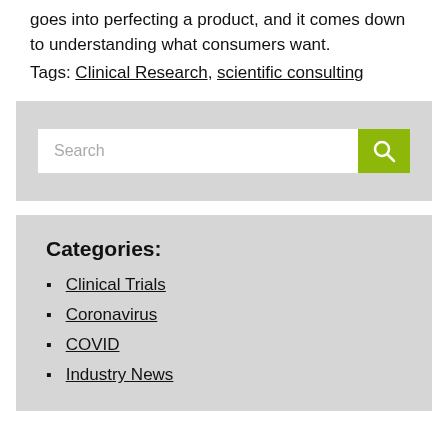goes into perfecting a product, and it comes down to understanding what consumers want.
Tags: Clinical Research, scientific consulting
[Figure (other): Search widget with text input field and green search button]
Categories:
Clinical Trials
Coronavirus
COVID
Industry News